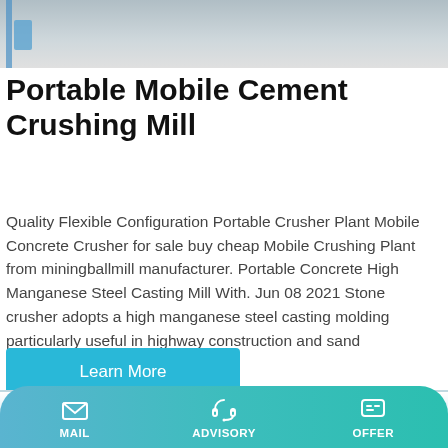[Figure (photo): Top portion of a photo showing a portable mobile cement crushing mill machine outdoors on a concrete surface.]
Portable Mobile Cement Crushing Mill
Quality Flexible Configuration Portable Crusher Plant Mobile Concrete Crusher for sale buy cheap Mobile Crushing Plant from miningballmill manufacturer. Portable Concrete High Manganese Steel Casting Mill With. Jun 08 2021 Stone crusher adopts a high manganese steel casting molding particularly useful in highway construction and sand production
[Figure (other): A teal/cyan 'Learn More' button]
[Figure (photo): Bottom partial photo showing a building roofline with blue and gray colors.]
MAIL  ADVISORY  OFFER